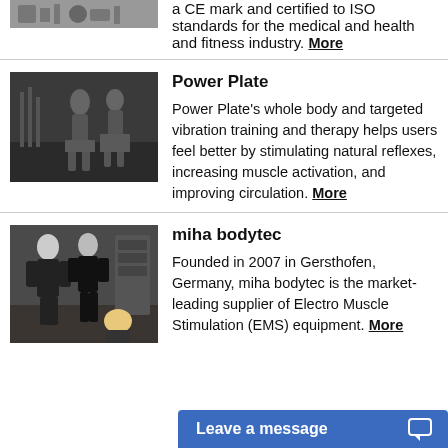[Figure (photo): Partial view of fitness equipment at top of page]
a CE mark and certified to ISO standards for the medical and health and fitness industry. More
[Figure (photo): People exercising in a gym using Power Plate vibration equipment]
Power Plate
Power Plate's whole body and targeted vibration training and therapy helps users feel better by stimulating natural reflexes, increasing muscle activation, and improving circulation. More
[Figure (photo): Two people wearing EMS suits with a trainer in a gym environment]
miha bodytec
Founded in 2007 in Gersthofen, Germany, miha bodytec is the market-leading supplier of Electro Muscle Stimulation (EMS) equipment. More
Leave a message